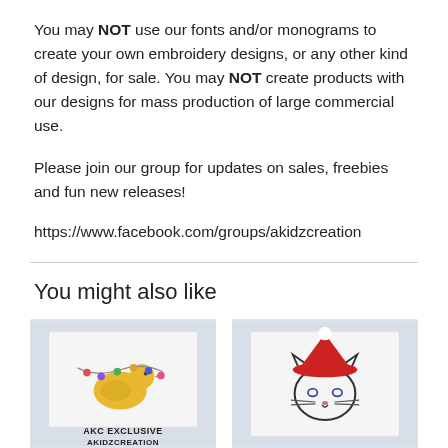You may NOT use our fonts and/or monograms to create your own embroidery designs, or any other kind of design, for sale. You may NOT create products with our designs for mass production of large commercial use.
Please join our group for updates on sales, freebies and fun new releases!
https://www.facebook.com/groups/akidzcreation
You might also like
[Figure (photo): Photo of embroidered duck with string lights on white fabric, labeled AKC EXCLUSIVE AKIDZCREATION]
[Figure (photo): Photo of embroidered cat wearing santa hat on white fabric]